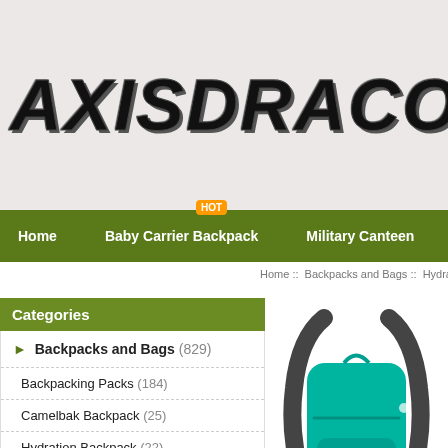[Figure (logo): AXISDRACO logo in large bold italic black text with 3D shadow effect on a pinkish-beige background]
Home  Baby Carrier Backpack  Military Canteen
Home :: Backpacks and Bags :: Hydration
Categories
Backpacks and Bags (829)
Backpacking Packs (184)
Camelbak Backpack (25)
Hydration Backpack (22)
Travel Backpack (15)
Running Backpack (18)
Hiking Backpack (22)
Bike Backpack (18)
[Figure (photo): Teal/turquoise hydration backpack with dark gray shoulder straps on white background]